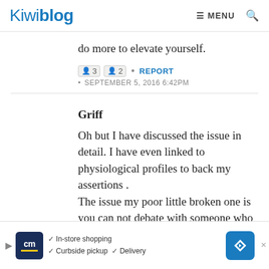Kiwiblog  MENU
do more to elevate yourself.
3  2  •  REPORT
• SEPTEMBER 5, 2016 6:42PM
Griff
Oh but I have discussed the issue in detail. I have even linked to physiological profiles to back my assertions .
The issue my poor little broken one is you can not debate with someone who squawks whatever bullshite that comes into her head to
[Figure (screenshot): Advertisement banner for cm (store) showing In-store shopping, Curbside pickup, Delivery options with navigation arrow icon]